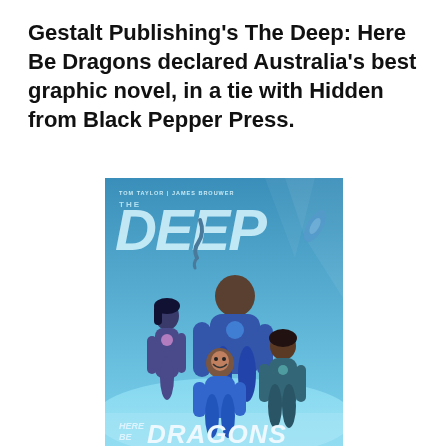Gestalt Publishing's The Deep: Here Be Dragons declared Australia's best graphic novel, in a tie with Hidden from Black Pepper Press.
[Figure (illustration): Cover of the graphic novel 'The Deep: Here Be Dragons' by Tom Taylor and James Brouwer, published by Gestalt Publishing. Shows four characters in diving/superhero suits on a blue aquatic background. Large stylized 'THE DEEP' logo at top, 'HERE BE DRAGONS' text at bottom.]